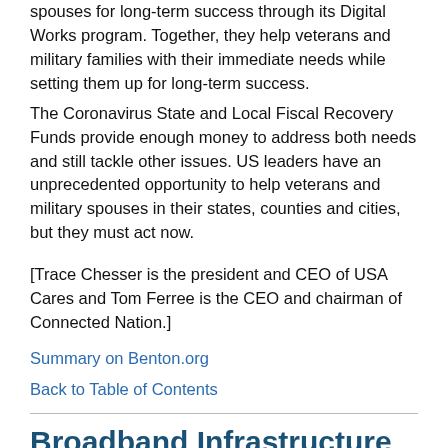spouses for long-term success through its Digital Works program. Together, they help veterans and military families with their immediate needs while setting them up for long-term success. The Coronavirus State and Local Fiscal Recovery Funds provide enough money to address both needs and still tackle other issues. US leaders have an unprecedented opportunity to help veterans and military spouses in their states, counties and cities, but they must act now.
[Trace Chesser is the president and CEO of USA Cares and Tom Ferree is the CEO and chairman of Connected Nation.]
Summary on Benton.org
Back to Table of Contents
Broadband Infrastructure